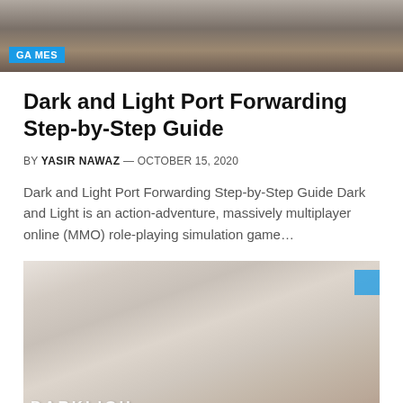[Figure (photo): Top banner photo showing game characters in a dark fantasy setting]
Dark and Light Port Forwarding Step-by-Step Guide
BY YASIR NAWAZ — OCTOBER 15, 2020
Dark and Light Port Forwarding Step-by-Step Guide Dark and Light is an action-adventure, massively multiplayer online (MMO) role-playing simulation game…
[Figure (photo): Second game screenshot showing a dark, atmospheric scene with a character, light atmosphere, and partial text overlay at bottom]